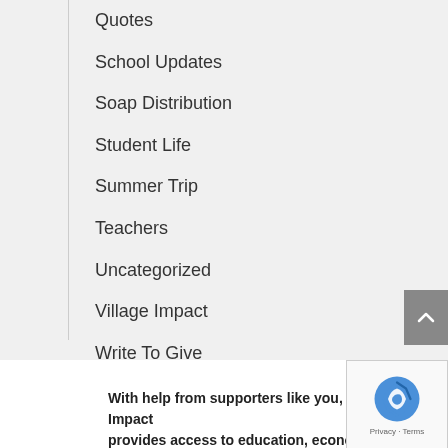Quotes
School Updates
Soap Distribution
Student Life
Summer Trip
Teachers
Uncategorized
Village Impact
Write To Give
WTA Updates
With help from supporters like you, Village Impact provides access to education, economic and